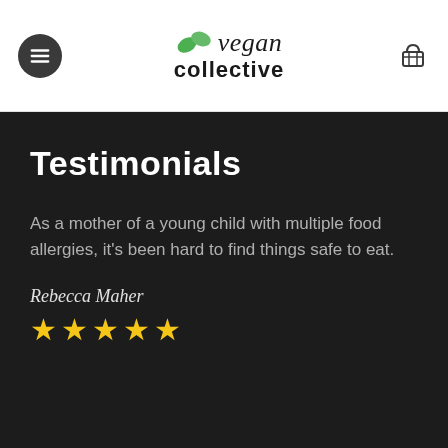vegan collective
Testimonials
As a mother of a young child with multiple food allergies, it's been hard to find things safe to eat.
Rebecca Maher ★★★★★